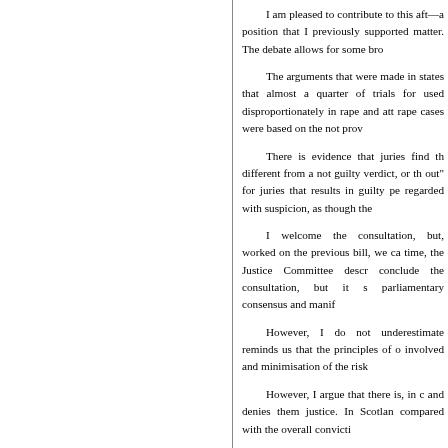I am pleased to contribute to this aft—a position that I previously supported matter. The debate allows for some bro
The arguments that were made in states that almost a quarter of trials for used disproportionately in rape and att rape cases were based on the not prov
There is evidence that juries find th different from a not guilty verdict, or th out" for juries that results in guilty pe regarded with suspicion, as though the
I welcome the consultation, but, worked on the previous bill, we ca time, the Justice Committee descr conclude the consultation, but it s parliamentary consensus and manif
However, I do not underestimate reminds us that the principles of o involved and minimisation of the risk
However, I argue that there is, in c and denies them justice. In Scotlan compared with the overall convicti